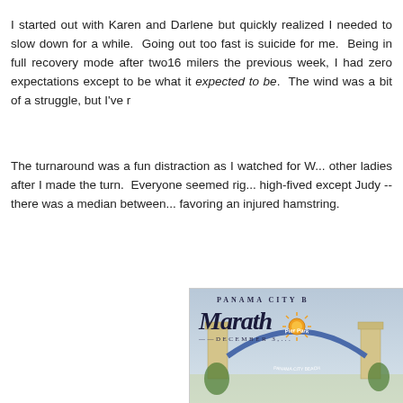I started out with Karen and Darlene but quickly realized I needed to slow down for a while.  Going out too fast is suicide for me.  Being in full recovery mode after two16 milers the previous week, I had zero expectations except to be what it expected to be.  The wind was a bit of a struggle, but I've r...
The turnaround was a fun distraction as I watched for W... other ladies after I made the turn.  Everyone seemed rig... high-fived except Judy -- there was a median between... favoring an injured hamstring.
[Figure (illustration): Panama City Beach Marathon logo/illustration showing an ornate arch gate with 'Pier Park Panama City Beach' text, a sun design, and palm trees in the background. Text reads 'PANAMA CITY B...' at top, 'Marath...' in script, and 'DECEMBER 3,...' below.]